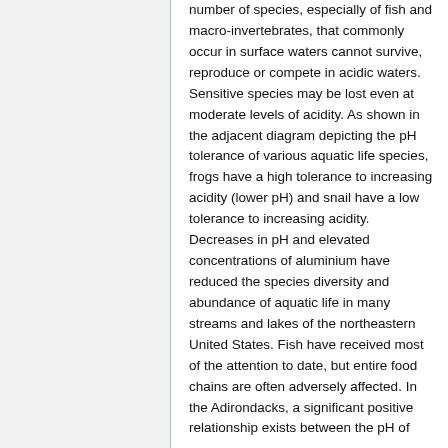number of species, especially of fish and macro-invertebrates, that commonly occur in surface waters cannot survive, reproduce or compete in acidic waters. Sensitive species may be lost even at moderate levels of acidity. As shown in the adjacent diagram depicting the pH tolerance of various aquatic life species, frogs have a high tolerance to increasing acidity (lower pH) and snail have a low tolerance to increasing acidity. Decreases in pH and elevated concentrations of aluminium have reduced the species diversity and abundance of aquatic life in many streams and lakes of the northeastern United States. Fish have received most of the attention to date, but entire food chains are often adversely affected. In the Adirondacks, a significant positive relationship exists between the pH of